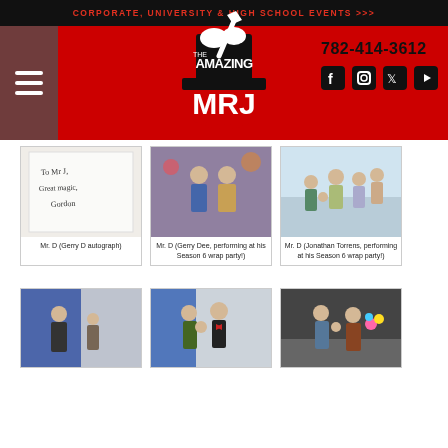CORPORATE, UNIVERSITY & HIGH SCHOOL EVENTS >>>
[Figure (logo): The Amazing MRJ logo with top hat and magic wand, on red header with phone number 782-414-3612 and social media icons]
[Figure (photo): Handwritten autograph note: To Mr J, Great magic, Gordon]
Mr. D (Gerry D autograph)
[Figure (photo): Two men standing together at a party venue with colorful lights in background]
Mr. D (Gerry Dee, performing at his Season 6 wrap party!)
[Figure (photo): Group of people including children posing together at Season 6 wrap party]
Mr. D (Jonathan Torrens, performing at his Season 6 wrap party!)
[Figure (photo): Woman with child at event with blue and white tent backdrop]
[Figure (photo): Family group with magician in red bow tie at event]
[Figure (photo): Family with colorful flowers/balloons at outdoor event]